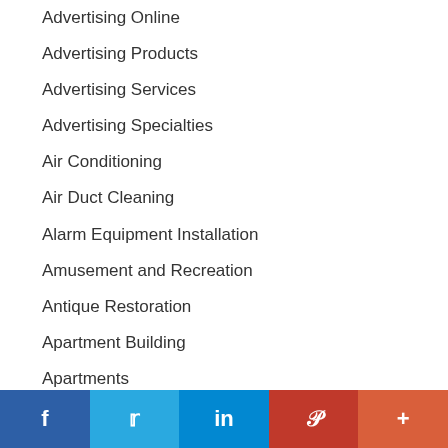Advertising Online
Advertising Products
Advertising Services
Advertising Specialties
Air Conditioning
Air Duct Cleaning
Alarm Equipment Installation
Amusement and Recreation
Antique Restoration
Apartment Building
Apartments
Apartments - Luxury
Appliances and Repair
Appraisal